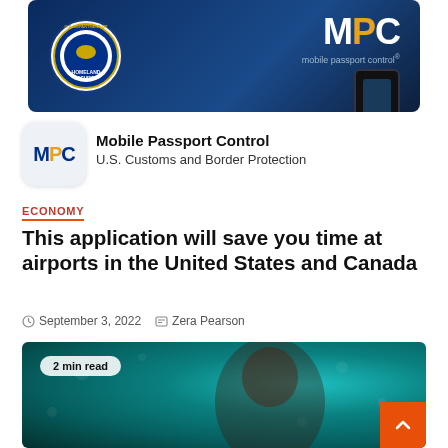[Figure (screenshot): App store banner image showing Department of Homeland Security seal on left and MPC Mobile Passport Control branding on a phone screen on right, dark blue background]
[Figure (logo): MPC app icon - white/light background with MPC letters in blue and orange]
Mobile Passport Control
U.S. Customs and Border Protection
ECONOMY
This application will save you time at airports in the United States and Canada
September 3, 2022   Zera Pearson
[Figure (photo): Photo of a woman with long dark hair and dramatic makeup against a teal/bokeh background, with a '2 min read' badge overlay]